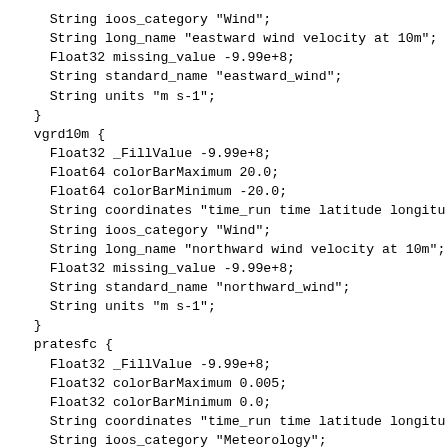String ioos_category "Wind";
    String long_name "eastward wind velocity at 10m";
    Float32 missing_value -9.99e+8;
    String standard_name "eastward_wind";
    String units "m s-1";
  }
  vgrd10m {
    Float32 _FillValue -9.99e+8;
    Float64 colorBarMaximum 20.0;
    Float64 colorBarMinimum -20.0;
    String coordinates "time_run time latitude longitu
    String ioos_category "Wind";
    String long_name "northward wind velocity at 10m";
    Float32 missing_value -9.99e+8;
    String standard_name "northward_wind";
    String units "m s-1";
  }
  pratesfc {
    Float32 _FillValue -9.99e+8;
    Float32 colorBarMaximum 0.005;
    Float32 colorBarMinimum 0.0;
    String coordinates "time_run time latitude longitu
    String ioos_category "Meteorology";
    String long_name "rainfall rate";
    Float32 missing_value -9.99e+8;
    String standard_name "precipitation_flux";